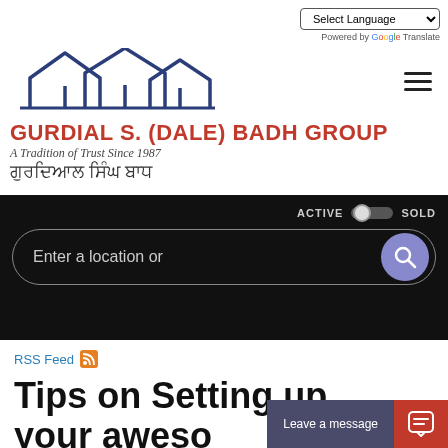[Figure (logo): Gurdial S. (Dale) Badh Group real estate logo with stylized house rooflines, brand name in red, tagline in English italic and Punjabi script]
Select Language (dropdown) | Powered by Google Translate
[Figure (screenshot): Black search bar section with ACTIVE/SOLD toggle and search input field with magnifier button]
RSS Feed
Tips on Setting up your aweso